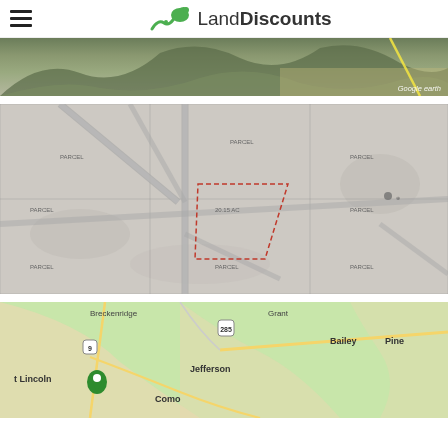LandDiscounts
[Figure (photo): Google Earth aerial satellite view showing terrain with mountains and a yellow road line in upper right]
[Figure (map): Google Earth overhead aerial map showing land parcels with roads intersecting and a red dashed boundary outlining a specific parcel]
[Figure (map): Google Maps view showing region with Breckenridge, Grant, Bailey, Pine, Jefferson, Como, Lincoln labeled, with route 9 and 285 marked and green terrain areas]